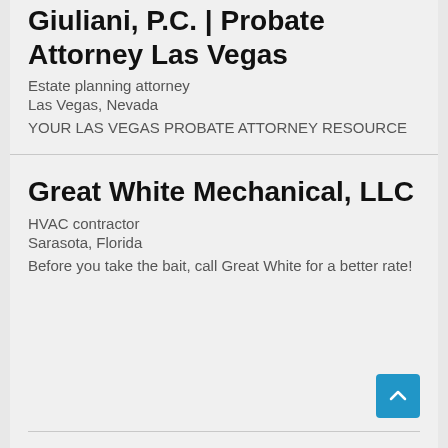Giuliani, P.C. | Probate Attorney Las Vegas
Estate planning attorney
Las Vegas, Nevada
YOUR LAS VEGAS PROBATE ATTORNEY RESOURCE
Great White Mechanical, LLC
HVAC contractor
Sarasota, Florida
Before you take the bait, call Great White for a better rate!